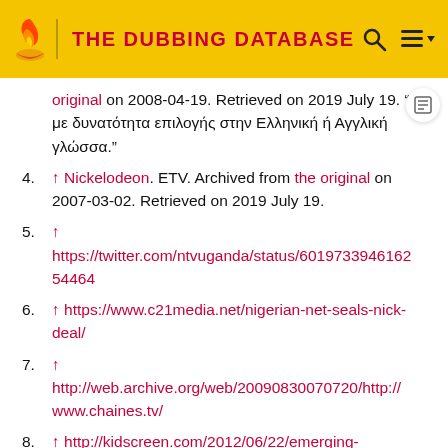THE DUBBING DATABASE
↑ original on 2008-04-19. Retrieved on 2019 July 19. "[...] με δυνατότητα επιλογής στην Ελληνική ή Αγγλική γλώσσα."
4. ↑ Nickelodeon. ETV. Archived from the original on 2007-03-02. Retrieved on 2019 July 19.
5. ↑ https://twitter.com/ntvuganda/status/601973394616254464
6. ↑ https://www.c21media.net/nigerian-net-seals-nick-deal/
7. ↑ http://web.archive.org/web/20090830070720/http://www.chaines.tv/
8. ↑ http://kidscreen.com/2012/06/22/emerging-